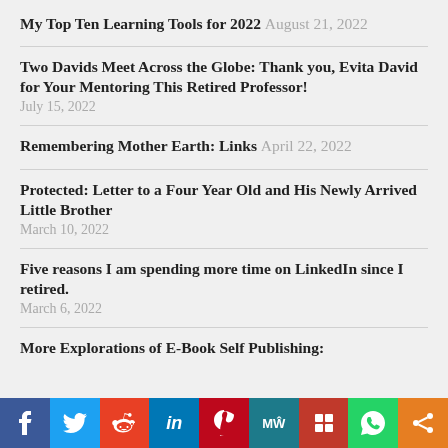My Top Ten Learning Tools for 2022 August 21, 2022
Two Davids Meet Across the Globe: Thank you, Evita David for Your Mentoring This Retired Professor!
July 15, 2022
Remembering Mother Earth: Links April 22, 2022
Protected: Letter to a Four Year Old and His Newly Arrived Little Brother
March 10, 2022
Five reasons I am spending more time on LinkedIn since I retired.
March 6, 2022
More Explorations of E-Book Self Publishing: